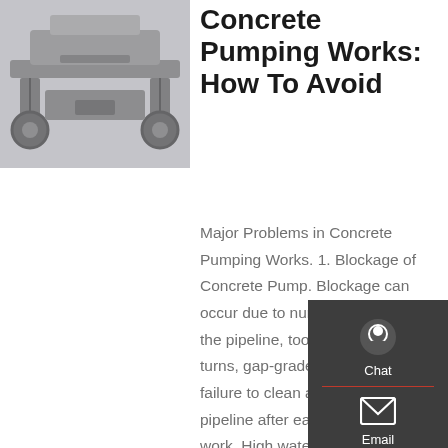[Figure (photo): Underside view of a concrete pump truck showing mechanical components and pump assembly in gray tones]
Concrete Pumping Works: How To Avoid
Major Problems in Concrete Pumping Works. 1. Blockage of Concrete Pump. Blockage can occur due to numerous bends in the pipeline, too sharp or too wide turns, gap-graded aggregate, and failure to clean and maintain the pipeline after each concreting work. High water-cement ratio and long waiting-time at construction site during which concrete